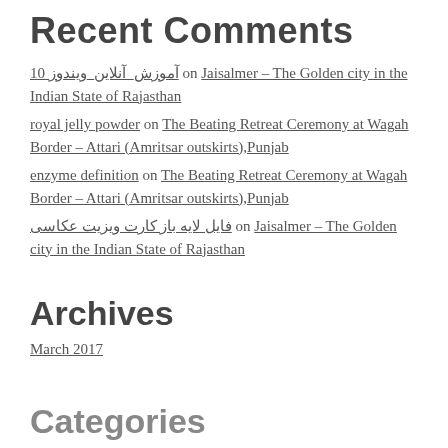Recent Comments
آموزش_آنلاین_ویندوز 10 on Jaisalmer – The Golden city in the Indian State of Rajasthan
royal jelly powder on The Beating Retreat Ceremony at Wagah Border – Attari (Amritsar outskirts),Punjab
enzyme definition on The Beating Retreat Ceremony at Wagah Border – Attari (Amritsar outskirts),Punjab
فایل لایه باز کارت ویزیت عکاسی on Jaisalmer – The Golden city in the Indian State of Rajasthan
Archives
March 2017
Categories